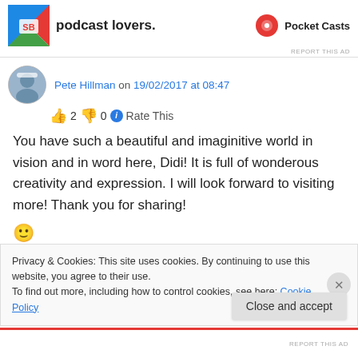[Figure (screenshot): Ad banner for Pocket Casts app — podcast lovers — with colorful logo on left and Pocket Casts logo/name on right]
Pete Hillman on 19/02/2017 at 08:47
👍 2 👎 0 ℹ Rate This
You have such a beautiful and imaginitive world in vision and in word here, Didi! It is full of wonderous creativity and expression. I will look forward to visiting more! Thank you for sharing! 🙂
Privacy & Cookies: This site uses cookies. By continuing to use this website, you agree to their use.
To find out more, including how to control cookies, see here: Cookie Policy
Close and accept